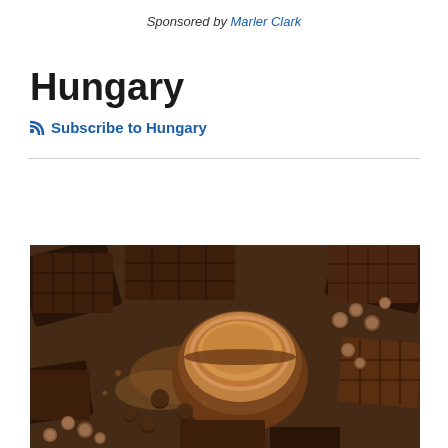Sponsored by Marler Clark
Hungary
Subscribe to Hungary
[Figure (photo): Pieces of chocolate bars, chocolate truffles, hazelnuts, and a wooden bowl filled with cocoa powder arranged on a dark surface.]